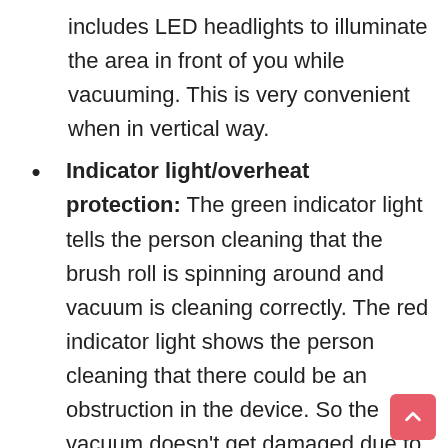includes LED headlights to illuminate the area in front of you while vacuuming. This is very convenient when in vertical way.
Indicator light/overheat protection: The green indicator light tells the person cleaning that the brush roll is spinning around and vacuum is cleaning correctly. The red indicator light shows the person cleaning that there could be an obstruction in the device. So the vacuum doesn’t get damaged due to an obstruction in the dirt cup or the brush roll.
Under-appliance wand: This is an